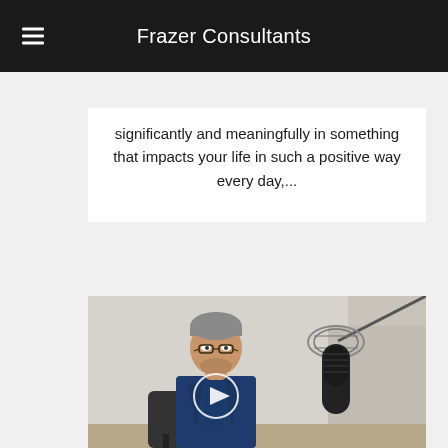Frazer Consultants
significantly and meaningfully in something that impacts your life in such a positive way every day,...
[Figure (photo): A man in a blue suit and glasses seated in an office chair with a professional microphone on a boom arm visible in the foreground. A video play button overlay is centered on the image.]